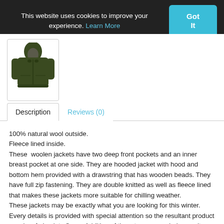This website uses cookies to improve your experience. Learn More  Got It
[Figure (photo): Green woolen hoodie jacket product thumbnail image]
Description | Reviews (0)
100% natural wool outside.
Fleece lined inside.
These  woolen jackets have two deep front pockets and an inner breast pocket at one side. They are hooded jacket with hood and bottom hem provided with a drawstring that has wooden beads. They have full zip fastening. They are double knitted as well as fleece lined that makes these jackets more suitable for chilling weather.
These jackets may be exactly what you are looking for this winter. Every details is provided with special attention so the resultant product speaks of absolute finery. Addition of them to your wardrobe won't go waste.
Please don't be fooled by cheap imitations as our jackets are double